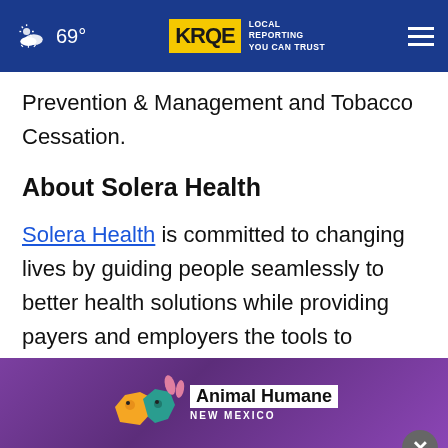KRQE LOCAL REPORTING YOU CAN TRUST | 69°
Prevention & Management and Tobacco Cessation.
About Solera Health
Solera Health is committed to changing lives by guiding people seamlessly to better health solutions while providing payers and employers the tools to manage providers and outcomes across conditions. Solera's platform provides a mark[etplace] and compr[ehensive,]
[Figure (other): Animal Humane New Mexico advertisement banner with colorful animal logo, overlaid on page content with a close (X) button]